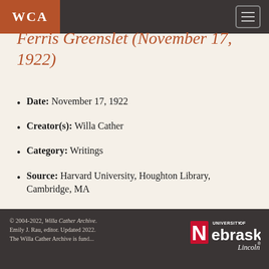WCA
Ferris Greenslet (November 17, 1922)
Date: November 17, 1922
Creator(s): Willa Cather
Category: Writings
Source: Harvard University, Houghton Library, Cambridge, MA
© 2004-2022, Willa Cather Archive. Emily J. Rau, editor. Updated 2022. The Willa Cather Archive is funded...